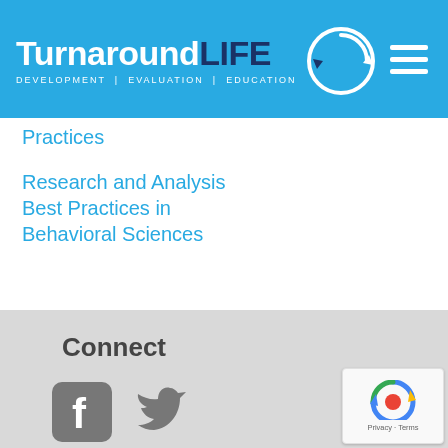Turnaround LIFE — DEVELOPMENT | EVALUATION | EDUCATION
Practices
Research and Analysis Best Practices in Behavioral Sciences
Connect
[Figure (logo): Facebook and Twitter social media icons in gray]
[Figure (logo): Google reCAPTCHA badge with Privacy and Terms links]